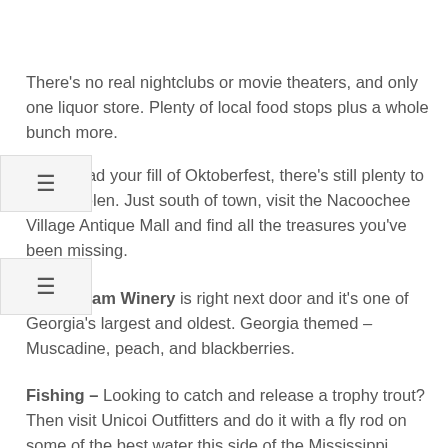There's no real nightclubs or movie theaters, and only one liquor store. Plenty of local food stops plus a whole bunch more.
you've had your fill of Oktoberfest, there's still plenty to do nd Helen. Just south of town, visit the Nacoochee Village Antique Mall and find all the treasures you've been missing.
Habersham Winery is right next door and it's one of Georgia's largest and oldest. Georgia themed – Muscadine, peach, and blackberries.
Fishing – Looking to catch and release a trophy trout? Then visit Unicoi Outfitters and do it with a fly rod on some of the best water this side of the Mississippi. While you're fishing, the rest of the family can head over to Nora Mills and load up on everything from grits to cornmeal while they watch your fishing prowess from their deck.